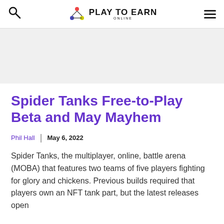Play To Earn Online
Spider Tanks Free-to-Play Beta and May Mayhem
Phil Hall | May 6, 2022
Spider Tanks, the multiplayer, online, battle arena (MOBA) that features two teams of five players fighting for glory and chickens. Previous builds required that players own an NFT tank part, but the latest releases open